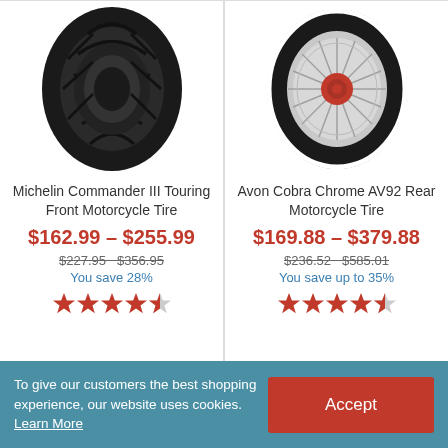[Figure (photo): Michelin Commander III Touring Front Motorcycle Tire product image]
Michelin Commander III Touring Front Motorcycle Tire
$162.99 – $255.99
$227.95  $356.95
You save 28%
[Figure (other): 4.5 star rating]
[Figure (photo): Avon Cobra Chrome AV92 Rear Motorcycle Tire product image with chrome spoked wheel]
Avon Cobra Chrome AV92 Rear Motorcycle Tire
$169.88 – $379.88
$236.52  $585.01
You save up to 35%
[Figure (other): 4.5 star rating]
To give our customers the best shopping experience, our website uses cookies. Learn More